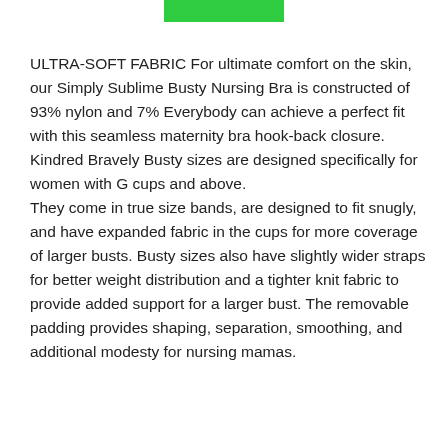[Figure (other): Green button/bar at top center of page]
ULTRA-SOFT FABRIC For ultimate comfort on the skin, our Simply Sublime Busty Nursing Bra is constructed of 93% nylon and 7% Everybody can achieve a perfect fit with this seamless maternity bra hook-back closure. Kindred Bravely Busty sizes are designed specifically for women with G cups and above.
They come in true size bands, are designed to fit snugly, and have expanded fabric in the cups for more coverage of larger busts. Busty sizes also have slightly wider straps for better weight distribution and a tighter knit fabric to provide added support for a larger bust. The removable padding provides shaping, separation, smoothing, and additional modesty for nursing mamas.